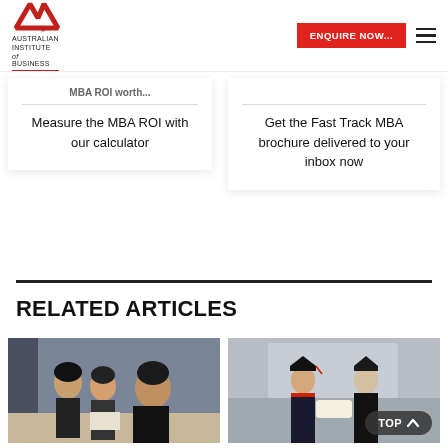[Figure (logo): Australian Institute of Business logo with red chevron/arrow graphic]
ENQUIRE NOW...
Measure the MBA ROI with our calculator
Get the Fast Track MBA brochure delivered to your inbox now
RELATED ARTICLES
[Figure (photo): Students sitting in a classroom, two women looking attentive, taking notes]
[Figure (photo): Graduation ceremony, a student in cap and gown receiving a diploma from a university official]
TOP ∧